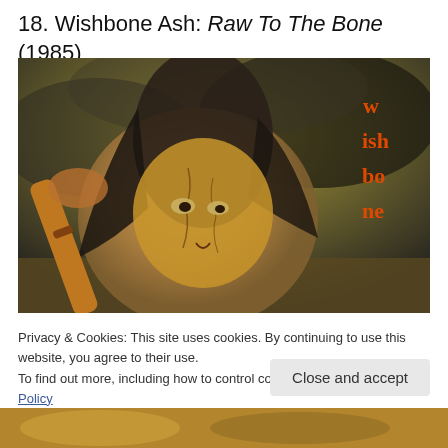18. Wishbone Ash: Raw To The Bone (1985)
[Figure (photo): Album cover artwork for Wishbone Ash 'Raw To The Bone' (1985) showing a fierce woman with cracked face paint and long hair wielding a weapon, with the Wishbone Ash logo in orange/red letters on the right side against a dark stormy sky background.]
Privacy & Cookies: This site uses cookies. By continuing to use this website, you agree to their use.
To find out more, including how to control cookies, see here: Cookie Policy
Close and accept